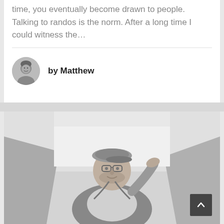time, you eventually become drawn to people. Talking to randos is the norm. After a long time I could witness the…
by Matthew
[Figure (photo): A man wearing glasses and a cap, smiling and shielding his eyes from the sun with one hand, wearing a dark jacket over a white t-shirt, outdoors with architectural elements in the background. Black and white / greyscale photo.]